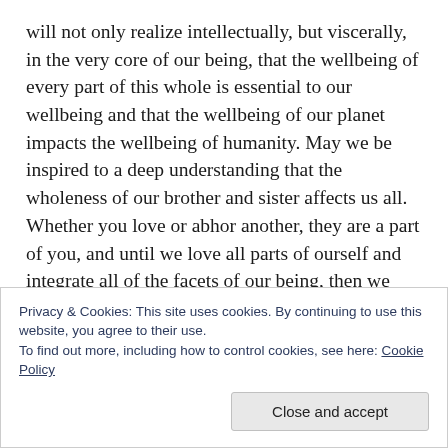will not only realize intellectually, but viscerally, in the very core of our being, that the wellbeing of every part of this whole is essential to our wellbeing and that the wellbeing of our planet impacts the wellbeing of humanity. May we be inspired to a deep understanding that the wholeness of our brother and sister affects us all. Whether you love or abhor another, they are a part of you, and until we love all parts of ourself and integrate all of the facets of our being, then we will not be healthy and free.

This journey starts and ends with the self. Until we
Privacy & Cookies: This site uses cookies. By continuing to use this website, you agree to their use.
To find out more, including how to control cookies, see here: Cookie Policy
Close and accept